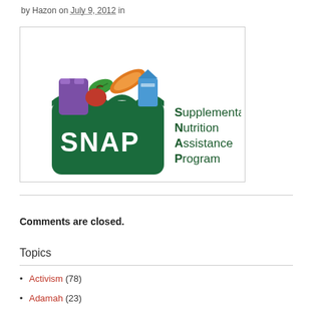by Hazon on July 9, 2012 in
[Figure (logo): SNAP - Supplemental Nutrition Assistance Program logo. A green grocery bag with colorful food items on top (purple bag, green leaf, orange bread, blue milk carton, red apple), with 'SNAP' in white letters on the bag, and 'Supplemental Nutrition Assistance Program' in dark green text to the right.]
Comments are closed.
Topics
Activism (78)
Adamah (23)